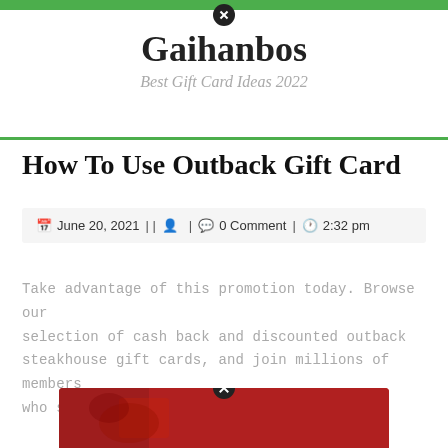Gaihanbos — Best Gift Card Ideas 2022
How To Use Outback Gift Card
📅 June 20, 2021 | | 👤 | 💬 0 Comment | 🕐 2:32 pm
Take advantage of this promotion today. Browse our selection of cash back and discounted outback steakhouse gift cards, and join millions of members who save with raise.
[Figure (photo): Partial view of a red Outback Steakhouse gift card at the bottom of the page]